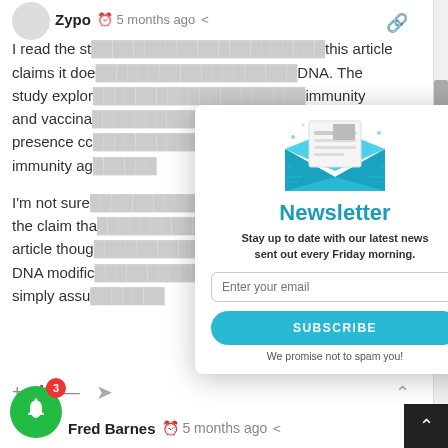[Figure (screenshot): User avatar circle (grey placeholder) top left]
Zypo  5 months ago
I read the st... this article claims it doe... DNA. The study explor... immunity and vaccina... otein presence co... ch is immunity ag...
I'm not sure... y supports the claim tha... riter of this article thoug... e form of DNA modific... rticle and simply assu...
+ -42 —
130
[Figure (screenshot): Newsletter modal popup with envelope illustration, title 'Newsletter', subtitle 'Stay up to date with our latest news sent out every Friday morning.', email input, SUBSCRIBE button, and 'We promise not to spam you!' text]
Fred Barnes  5 months ago